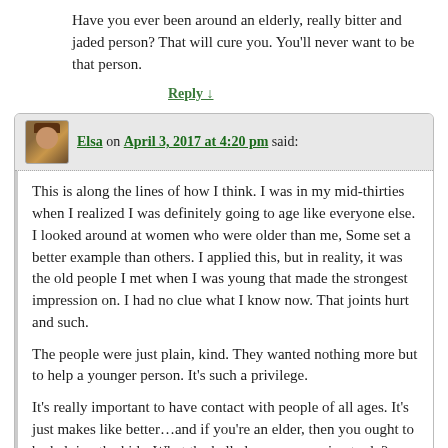Have you ever been around an elderly, really bitter and jaded person? That will cure you. You'll never want to be that person.
Reply ↓
Elsa on April 3, 2017 at 4:20 pm said:
This is along the lines of how I think. I was in my mid-thirties when I realized I was definitely going to age like everyone else. I looked around at women who were older than me, Some set a better example than others. I applied this, but in reality, it was the old people I met when I was young that made the strongest impression on. I had no clue what I know now. That joints hurt and such.
The people were just plain, kind. They wanted nothing more but to help a younger person. It's such a privilege.
It's really important to have contact with people of all ages. It's just makes like better…and if you're an elder, then you ought to be helping the kids. What the hell else are you going to do?
Reply ↓
Kri on April 3, 2017 at 9:12 pm said: